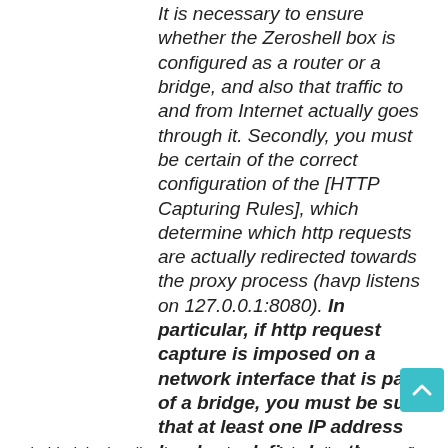It is necessary to ensure whether the Zeroshell box is configured as a router or a bridge, and also that traffic to and from Internet actually goes through it. Secondly, you must be certain of the correct configuration of the [HTTP Capturing Rules], which determine which http requests are actually redirected towards the proxy process (havp listens on 127.0.0.1:8080). In particular, if http request capture is imposed on a network interface that is part of a bridge, you must be sure that at least one IP address has been defined on the latter.
I bolded the last line because it sort of describes how to fix this problem. However, I think this is a case of the instructions getting lost in translation. I'm usually pretty good at deciphering a bad translation but this has me stumped. Can someone provide some better details on what changes need to be made to make